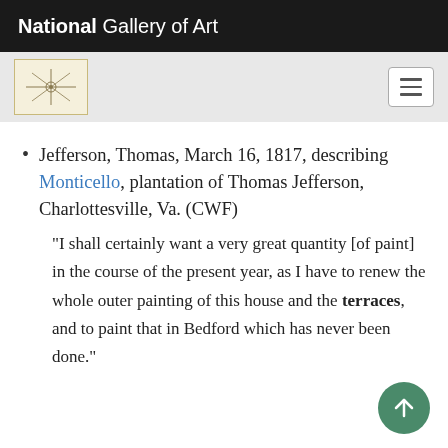National Gallery of Art
Jefferson, Thomas, March 16, 1817, describing Monticello, plantation of Thomas Jefferson, Charlottesville, Va. (CWF)
"I shall certainly want a very great quantity [of paint] in the course of the present year, as I have to renew the whole outer painting of this house and the terraces, and to paint that in Bedford which has never been done."